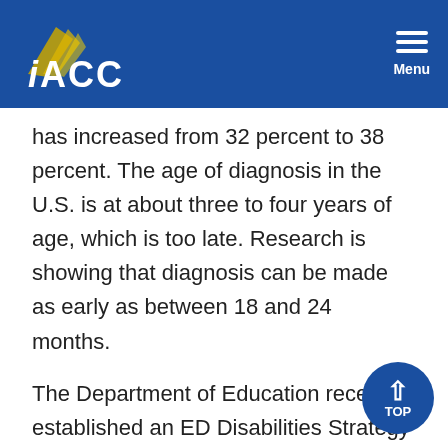IACC Menu
has increased from 32 percent to 38 percent. The age of diagnosis in the U.S. is at about three to four years of age, which is too late. Research is showing that diagnosis can be made as early as between 18 and 24 months.
The Department of Education recently established an ED Disabilities Strategy Work Group, which identified five objectives for the Department to target in its work on special education. The first is high-quality early intervention and pre-school services in natural environments and inclusive settings to enhance each child's development. Second